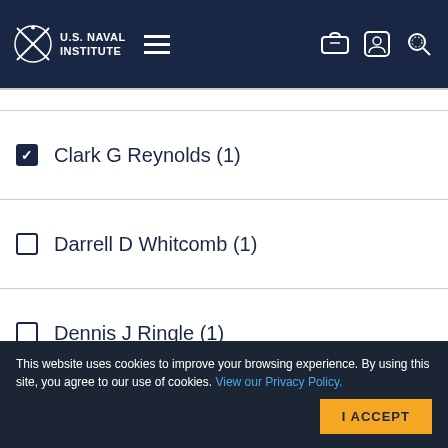U.S. Naval Institute
Clark G Reynolds (1)
Darrell D Whitcomb (1)
Dennis J Ringle (1)
Edited by ET Wooldridge (1)
Edited by Jack Sweetman (1)
This website uses cookies to improve your browsing experience. By using this site, you agree to our use of cookies. View our Privacy Policy.